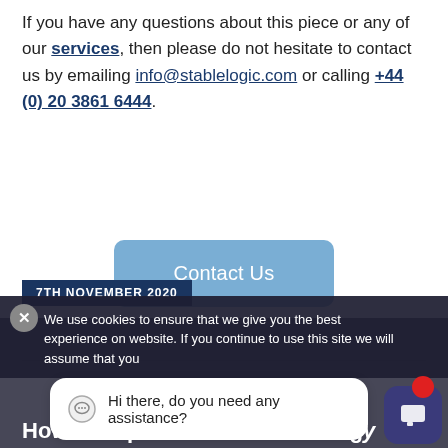If you have any questions about this piece or any of our services, then please do not hesitate to contact us by emailing info@stablelogic.com or calling +44 (0) 20 3861 6444.
[Figure (other): A blue rounded rectangle button labeled 'Contact Us']
7TH NOVEMBER 2020
We use cookies to ensure that we give you the best experience on website. If you continue to use this site we will assume that you
Hi there, do you need any assistance?
How to Implement a New Strateg...